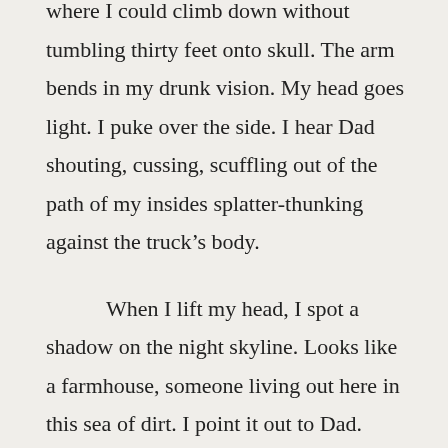where I could climb down without tumbling thirty feet onto skull. The arm bends in my drunk vision. My head goes light. I puke over the side. I hear Dad shouting, cussing, scuffling out of the path of my insides splatter-thunking against the truck's body.

When I lift my head, I spot a shadow on the night skyline. Looks like a farmhouse, someone living out here in this sea of dirt. I point it out to Dad.

“Good eye, my floating daughter.